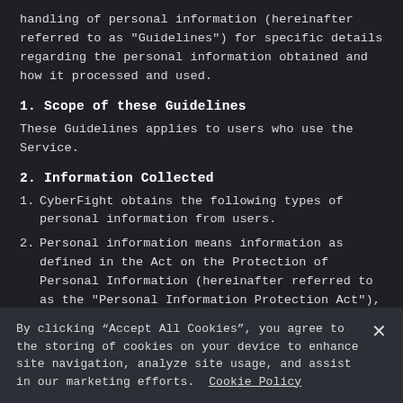handling of personal information (hereinafter referred to as "Guidelines") for specific details regarding the personal information obtained and how it processed and used.
1. Scope of these Guidelines
These Guidelines applies to users who use the Service.
2. Information Collected
1. CyberFight obtains the following types of personal information from users.
2. Personal information means information as defined in the Act on the Protection of Personal Information (hereinafter referred to as the "Personal Information Protection Act"), relevant governmental and ministerial ordinances, and
By clicking “Accept All Cookies”, you agree to the storing of cookies on your device to enhance site navigation, analyze site usage, and assist in our marketing efforts.  Cookie Policy